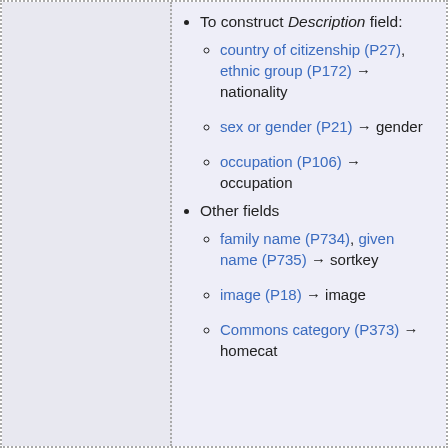To construct Description field:
country of citizenship (P27), ethnic group (P172) → nationality
sex or gender (P21) → gender
occupation (P106) → occupation
Other fields
family name (P734), given name (P735) → sortkey
image (P18) → image
Commons category (P373) → homecat